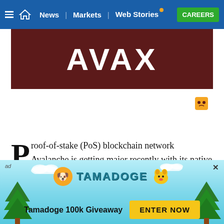≡ 🏠 News | Markets | Web Stories · CAREERS
[Figure (logo): AVAX cryptocurrency banner — white bold AVAX text on dark red/maroon background]
Proof-of-stake (PoS) blockchain network Avalanche is getting major recently with its native AVAX token gaining 50% over the last week. Earlier today, the AVAX token jumped another 12%, moving all the way to $68 and
[Figure (infographic): Tamadoge 100k Giveaway advertisement banner with cartoon dog, coin logo, teal/cyan winter scene background, and ENTER NOW button]